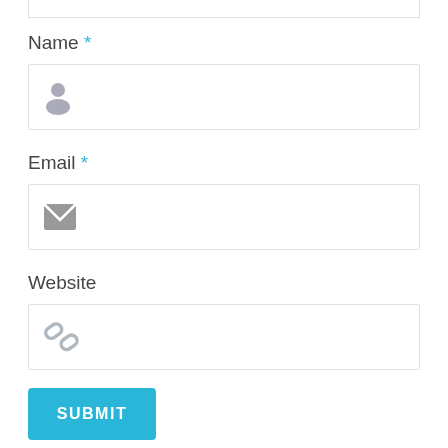Name *
[Figure (other): Text input field with person/user icon placeholder for Name]
Email *
[Figure (other): Text input field with envelope/email icon placeholder for Email]
Website
[Figure (other): Text input field with chain link icon placeholder for Website]
SUBMIT